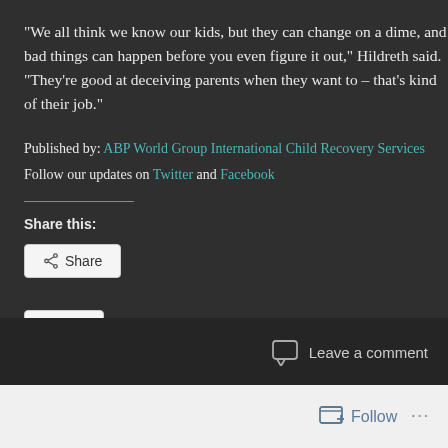"We all think we know our kids, but they can change on a dime, and bad things can happen before you even figure it out," Hildreth said. "They're good at deceiving parents when they want to – that's kind of their job."
Published by: ABP World Group International Child Recovery Services
Follow our updates on Twitter and Facebook
Share this:
[Figure (screenshot): Share button with share icon]
[Figure (screenshot): Like button with star icon]
Be the first to like this.
Leave a comment
Follow ...